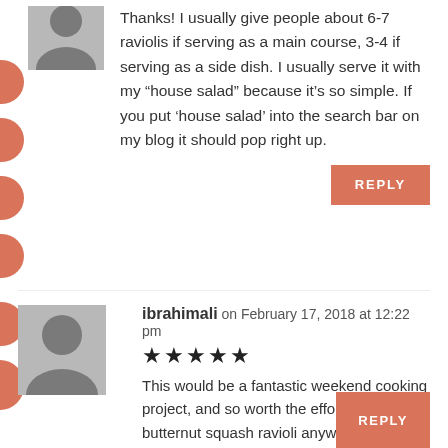Thanks! I usually give people about 6-7 raviolis if serving as a main course, 3-4 if serving as a side dish. I usually serve it with my “house salad” because it’s so simple. If you put ‘house salad’ into the search bar on my blog it should pop right up.
REPLY
ibrahimali on February 17, 2018 at 12:22 pm
This would be a fantastic weekend cooking project, and so worth the effort! I love butternut squash ravioli anyway, but THIS. I think that my pre-electric-chair meal may have just changed.
REPLY